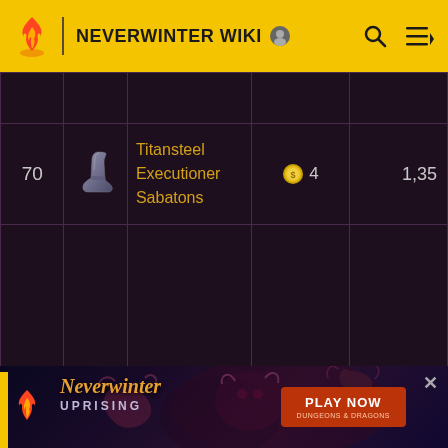NEVERWINTER WIKI
|  |  |  |  |  |
| --- | --- | --- | --- | --- |
| 70 | [boot icon] | Titansteel Executioner Sabatons | [coin] 4 | 1,35 |
[Figure (screenshot): Neverwinter Uprising advertisement banner with Play Now button and Dungeons & Dragons logo]